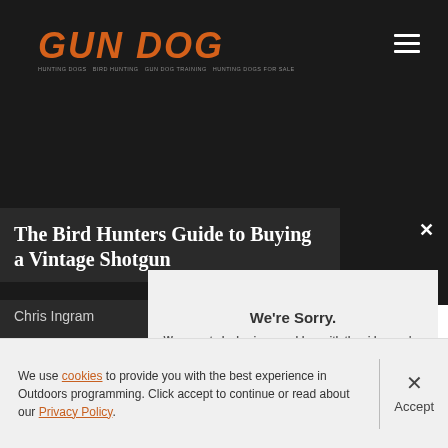[Figure (logo): Gun Dog magazine logo in orange italic bold text with subtitle]
The Bird Hunters Guide to Buying a Vintage Shotgun
Chris Ingram
B...
We're Sorry. We seem to be having a problem with the video you've selected.
We use cookies to provide you with the best experience in Outdoors programming. Click accept to continue or read about our Privacy Policy.